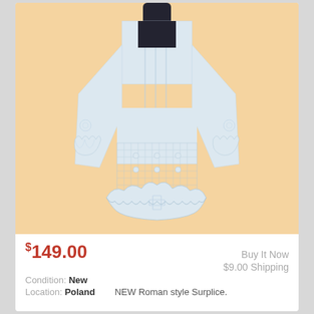[Figure (photo): White/light blue Roman style surplice with lace trim at sleeves and hem, displayed on a dark mannequin against a peach/tan background]
$149.00
Buy It Now
$9.00 Shipping
Condition: New
Location: Poland    NEW Roman style Surplice.